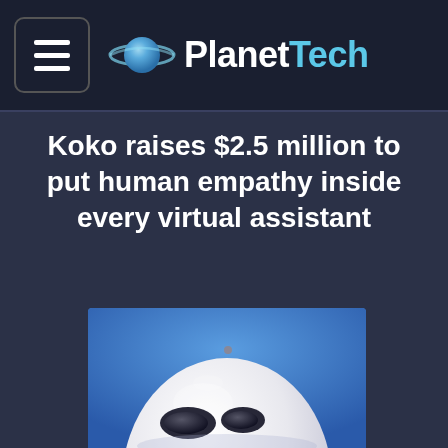PlanetTech
Koko raises $2.5 million to put human empathy inside every virtual assistant
[Figure (photo): White rounded robot head with black eye-like openings against a blue background]